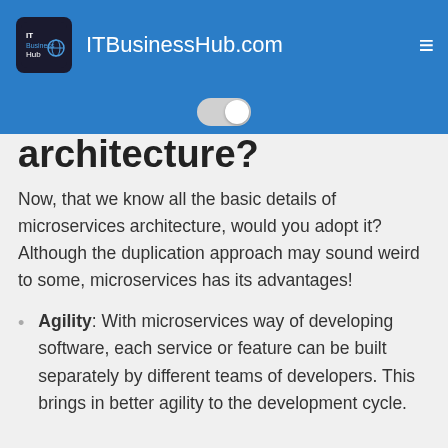ITBusinessHub.com
architecture?
Now, that we know all the basic details of microservices architecture, would you adopt it? Although the duplication approach may sound weird to some, microservices has its advantages!
Agility: With microservices way of developing software, each service or feature can be built separately by different teams of developers. This brings in better agility to the development cycle.